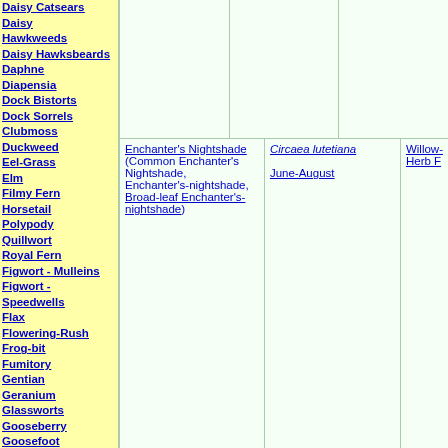Daisy Catsears Daisy Hawkweeds
Daisy Hawksbeards
Daphne
Diapensia
Dock Bistorts
Dock Sorrels
Clubmoss
Duckweed
Eel-Grass
Elm
Filmy Fern
Horsetail
Polypody
Quillwort
Royal Fern
Figwort - Mulleins
Figwort - Speedwells
Flax
Flowering-Rush
Frog-bit
Fumitory
Gentian
Geranium
Glassworts
Gooseberry
Goosefoot
Grass 1
Grass 2
Grass 3
Grass Soft Bromes 1
Grass Soft Bromes 2
Grass Soft Bromes 3
Hazel
Heath
Hemp
Herb-Paris
Holly
| Common Name | Scientific Name / Dates | Related |
| --- | --- | --- |
| Enchanter's Nightshade (Common Enchanter's Nightshade, Enchanter's-nightshade, Broad-leaf Enchanter's-nightshade) | Circaea lutetiana
June-August | Willow-Herb F |